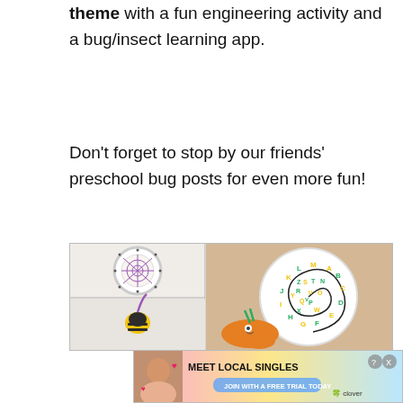theme with a fun engineering activity and a bug/insect learning app.
Don't forget to stop by our friends' preschool bug posts for even more fun!
[Figure (photo): Collage of three craft/activity images: top-left shows a paper plate spider web craft with purple string, bottom-left shows a yellow fuzzy bee craft with purple pipe cleaner antenna, and right side shows a large paper plate snail with alphabet letters arranged in a spiral shell pattern.]
[Figure (photo): Advertisement banner: 'MEET LOCAL SINGLES - JOIN WITH A FREE TRIAL TODAY' with Clover app logo, showing a woman's photo on left side. Pink/yellow gradient background.]